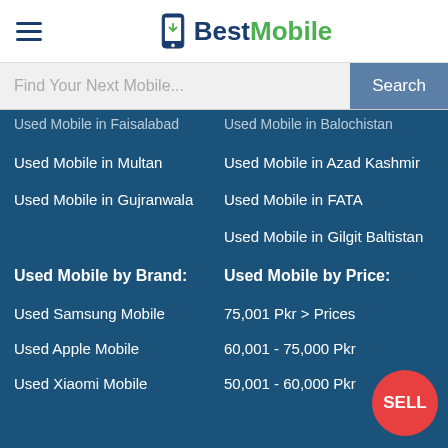BestMobile
Find Your Next Mobile...
Used Mobile in Faisalabad
Used Mobile in Balochistan
Used Mobile in Multan
Used Mobile in Azad Kashmir
Used Mobile in Gujranwala
Used Mobile in FATA
Used Mobile in Gilgit Baltistan
Used Mobile by Brand:
Used Mobile by Price:
Used Samsung Mobile
75,001 Pkr > Prices
Used Apple Mobile
60,001 - 75,000 Pkr
Used Xiaomi Mobile
50,001 - 60,000 Pkr